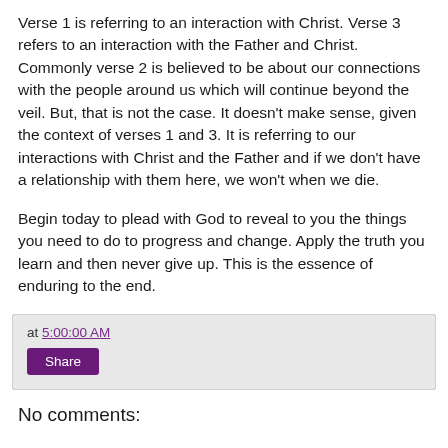Verse 1 is referring to an interaction with Christ. Verse 3 refers to an interaction with the Father and Christ. Commonly verse 2 is believed to be about our connections with the people around us which will continue beyond the veil. But, that is not the case. It doesn't make sense, given the context of verses 1 and 3. It is referring to our interactions with Christ and the Father and if we don't have a relationship with them here, we won't when we die.
Begin today to plead with God to reveal to you the things you need to do to progress and change. Apply the truth you learn and then never give up. This is the essence of enduring to the end.
at 5:00:00 AM
Share
No comments: